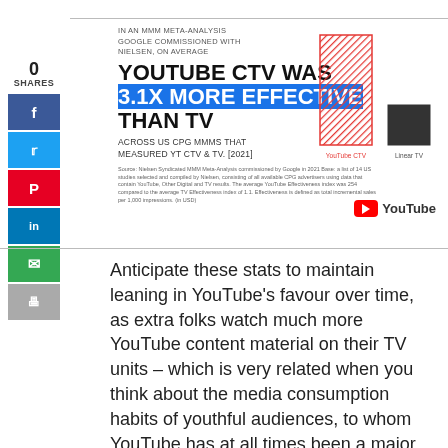0
SHARES
[Figure (infographic): Social share sidebar with Facebook (blue), Twitter (light blue), Pinterest (red), LinkedIn (dark blue), email (green), and print (gray) buttons]
IN AN MMM META-ANALYSIS GOOGLE COMMISSIONED WITH NIELSEN, ON AVERAGE
YOUTUBE CTV WAS 3.1X MORE EFFECTIVE THAN TV
ACROSS US CPG MMMS THAT MEASURED YT CTV & TV. [2021]
[Figure (bar-chart): Bar chart showing YouTube CTV bar (red hatched, tall) vs Linear TV bar (black, shorter)]
Source: Nielsen Syndicated MMM Meta-Analysis commissioned by Google in 2021 Base: a list of 14 US studies selected and compiled by Nielsen, consisting of all available CPG advertisers using data that contain YouTube, Other Digital and TV results. The average YouTube Effectiveness index was 254 compared to the average TV Effectiveness index of 1.1. Effectiveness is defined as total incremental sales per 1,000 impressions. (in USD)
[Figure (logo): YouTube logo — red rectangle with white play triangle, followed by 'YouTube' wordmark]
Anticipate these stats to maintain leaning in YouTube's favour over time, as extra folks watch much more YouTube content material on their TV units – which is very related when you think about the media consumption habits of youthful audiences, to whom YouTube has at all times been a major leisure choice.
Finally, YouTube reported that over 100 millio...